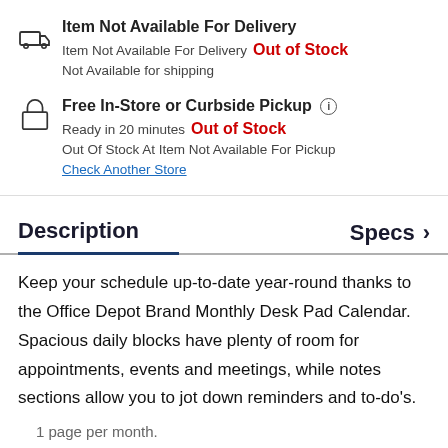Item Not Available For Delivery
Item Not Available For Delivery  Out of Stock
Not Available for shipping
Free In-Store or Curbside Pickup
Ready in 20 minutes  Out of Stock
Out Of Stock At Item Not Available For Pickup
Check Another Store
Description	Specs >
Keep your schedule up-to-date year-round thanks to the Office Depot Brand Monthly Desk Pad Calendar. Spacious daily blocks have plenty of room for appointments, events and meetings, while notes sections allow you to jot down reminders and to-do's.
1 page per month.